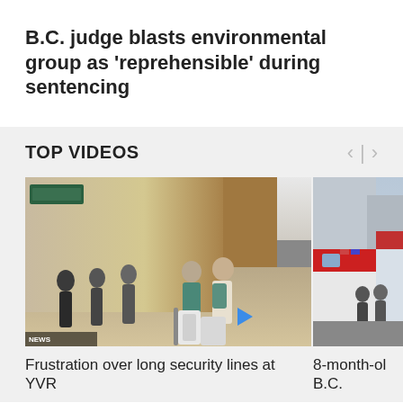B.C. judge blasts environmental group as 'reprehensible' during sentencing
TOP VIDEOS
[Figure (photo): People with luggage queuing in an airport terminal, viewed from behind. A play button icon is visible in the lower right.]
Frustration over long security lines at YVR
[Figure (photo): Ambulance vehicles parked on a street with people nearby, partially cropped on the right side.]
8-month-ol B.C.